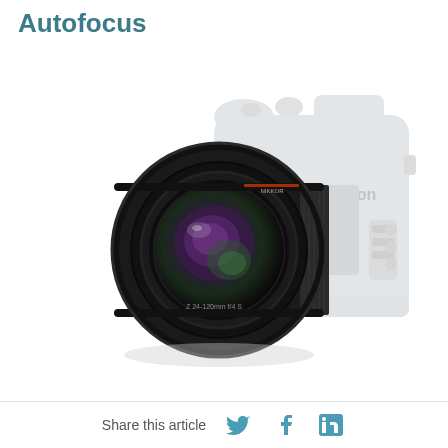Autofocus
[Figure (photo): Nikon mirrorless camera with a large zoom lens attached (NIKKOR Z 24-120mm f/4 S), shown at an angle with the camera body in gray/silver and the lens in black. The camera body shows the Nikon logo. The lens extends prominently to the left.]
Share this article